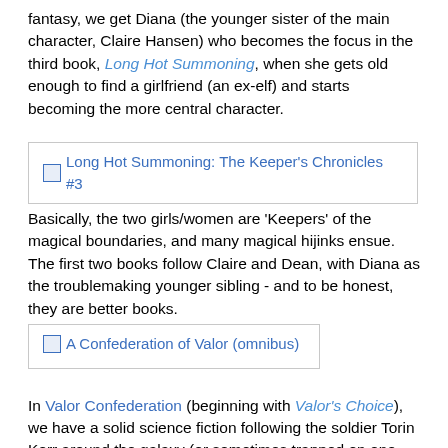fantasy, we get Diana (the younger sister of the main character, Claire Hansen) who becomes the focus in the third book, Long Hot Summoning, when she gets old enough to find a girlfriend (an ex-elf) and starts becoming the more central character.
[Figure (other): Image link placeholder for 'Long Hot Summoning: The Keeper's Chronicles #3' shown as a bordered box with broken image icon and blue link text]
Basically, the two girls/women are 'Keepers' of the magical boundaries, and many magical hijinks ensue. The first two books follow Claire and Dean, with Diana as the troublemaking younger sibling - and to be honest, they are better books.
[Figure (other): Image link placeholder for 'A Confederation of Valor (omnibus)' shown as a bordered box with broken image icon and blue link text]
In Valor Confederation (beginning with Valor's Choice), we have a solid science fiction following the soldier Torin Kerr around the galaxy (or sometimes trapped on one planet). More serious than Bujold's Vorkosigan books, more practical